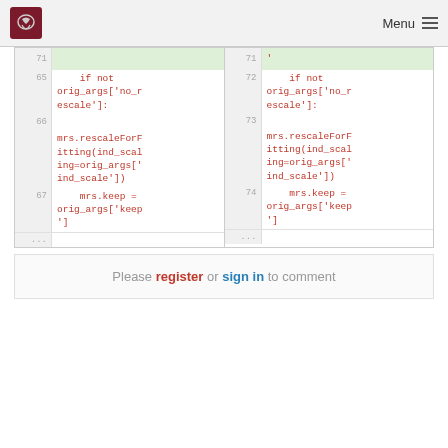Menu
| Line | Code (left) | Line | Code (right) |
| --- | --- | --- | --- |
| 71 |  | 71 |  |
| 65 | if not orig_args['no_rescale']: | 72 | if not orig_args['no_rescale']: |
| 66 |  | 73 |  |
|  | mrs.rescaleForFitting(ind_scaling=orig_args['ind_scale']) |  | mrs.rescaleForFitting(ind_scaling=orig_args['ind_scale']) |
| 67 | mrs.keep = orig_args['keep'] | 74 | mrs.keep = orig_args['keep'] |
| ... |  | ... |  |
Please register or sign in to comment